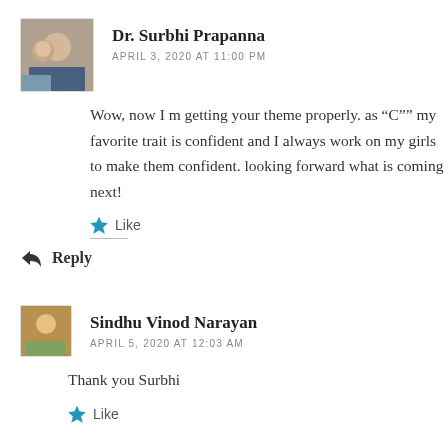Dr. Surbhi Prapanna
APRIL 3, 2020 AT 11:00 PM
Wow, now I m getting your theme properly. as “C”” my favorite trait is confident and I always work on my girls to make them confident. looking forward what is coming next!
Like
Reply
Sindhu Vinod Narayan
APRIL 5, 2020 AT 12:03 AM
Thank you Surbhi
Like